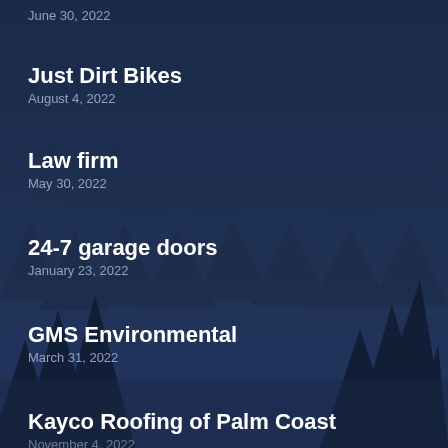June 30, 2022
Just Dirt Bikes
August 4, 2022
Law firm
May 30, 2022
24-7 garage doors
January 23, 2022
GMS Environmental
March 31, 2022
Kayco Roofing of Palm Coast
November 4, 2022